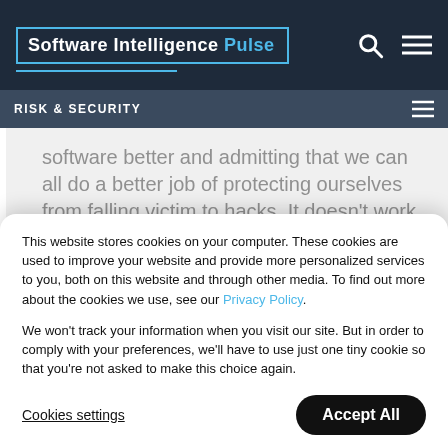Software Intelligence Pulse
RISK & SECURITY
software better and admitting that we can all do a better job of protecting ourselves from falling victim to hacks. It doesn’t work when we try to “boil the ocean” and do everything at once. We’re all getting smarter on how hackers are pulling this off. So let’s
This website stores cookies on your computer. These cookies are used to improve your website and provide more personalized services to you, both on this website and through other media. To find out more about the cookies we use, see our Privacy Policy.
We won’t track your information when you visit our site. But in order to comply with your preferences, we’ll have to use just one tiny cookie so that you’re not asked to make this choice again.
Cookies settings
Accept All